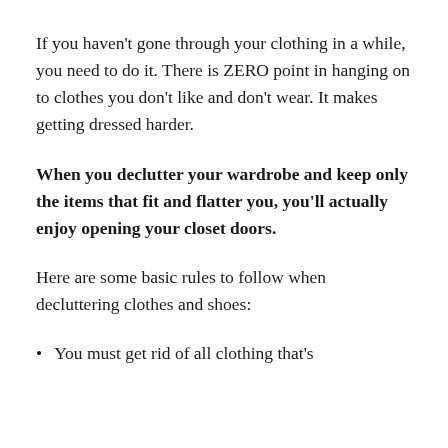If you haven't gone through your clothing in a while, you need to do it. There is ZERO point in hanging on to clothes you don't like and don't wear. It makes getting dressed harder.
When you declutter your wardrobe and keep only the items that fit and flatter you, you'll actually enjoy opening your closet doors.
Here are some basic rules to follow when decluttering clothes and shoes:
You must get rid of all clothing that's